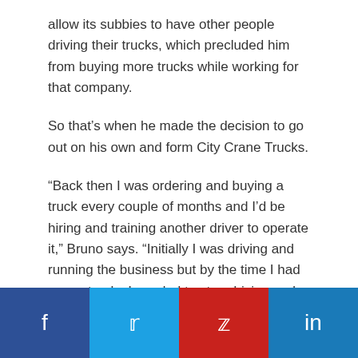allow its subbies to have other people driving their trucks, which precluded him from buying more trucks while working for that company.
So that's when he made the decision to go out on his own and form City Crane Trucks.
“Back then I was ordering and buying a truck every couple of months and I’d be hiring and training another driver to operate it,” Bruno says. “Initially I was driving and running the business but by the time I had seven trucks I needed to stop driving and concentrate on answering the phone and organising all the work.”
[Figure (infographic): Social media sharing buttons: Facebook (dark blue), Twitter (light blue), Pinterest (red), LinkedIn (blue)]